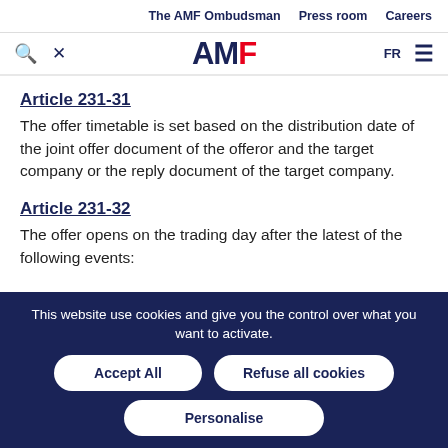The AMF Ombudsman  Press room  Careers
[Figure (logo): AMF logo with AM in dark navy and F in red]
Article 231-31
The offer timetable is set based on the distribution date of the joint offer document of the offeror and the target company or the reply document of the target company.
Article 231-32
The offer opens on the trading day after the latest of the following events:
This website use cookies and give you the control over what you want to activate.
Accept All  Refuse all cookies  Personalise